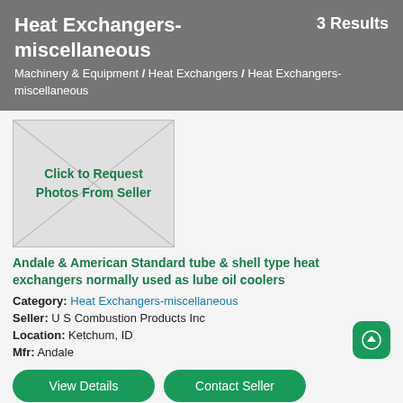Heat Exchangers-miscellaneous
3 Results
Machinery & Equipment / Heat Exchangers / Heat Exchangers-miscellaneous
[Figure (other): Image placeholder with diagonal lines and text 'Click to Request Photos From Seller']
Andale & American Standard tube & shell type heat exchangers normally used as lube oil coolers
Category: Heat Exchangers-miscellaneous
Seller: U S Combustion Products Inc
Location: Ketchum, ID
Mfr: Andale